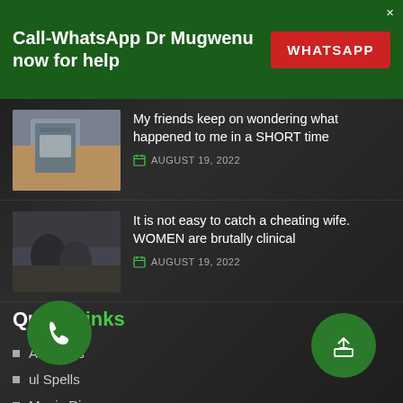Call-WhatsApp Dr Mugwenu now for help
WHATSAPP
My friends keep on wondering what happened to me in a SHORT time
AUGUST 19, 2022
It is not easy to catch a cheating wife. WOMEN are brutally clinical
AUGUST 19, 2022
Quick Links
About Us
ful Spells
Magic Rings